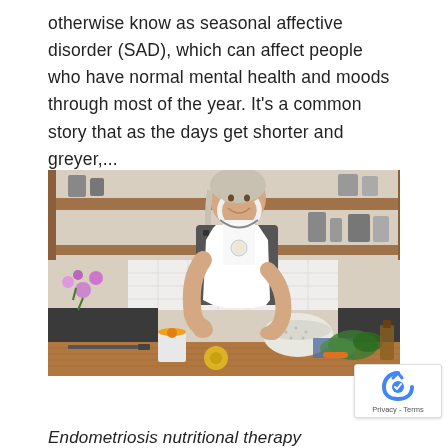otherwise know as seasonal affective disorder (SAD), which can affect people who have normal mental health and moods through most of the year. It's a common story that as the days get shorter and greyer,...
[Figure (photo): A woman wearing a white apron over a patterned top, smiling while preparing food at a kitchen counter with vegetables, a colander, and jars on a wooden chopping board. Open shelving with kitchenware visible in the background.]
Endometriosis nutritional therapy